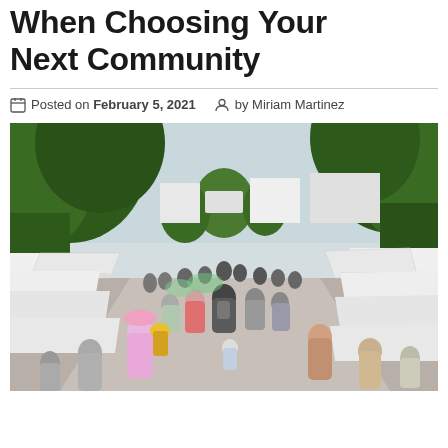When Choosing Your Next Community
Posted on February 5, 2021  by Miriam Martinez
[Figure (photo): Outdoor street market scene with crowds of people walking between white vendor tents, flanked by large green trees on both sides. A person with a backpack is visible in the center foreground.]